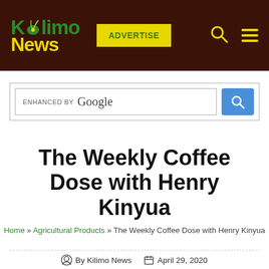[Figure (logo): Kilimo News logo with green K and yellow News text, with a yellow-green leaf/plant graphic]
Kilimo News — ADVERTISE — Search icon — Menu icon
[Figure (screenshot): Google enhanced search bar with blue search button]
The Weekly Coffee Dose with Henry Kinyua
Home » Agricultural Products » The Weekly Coffee Dose with Henry Kinyua
By Kilimo News   April 29, 2020